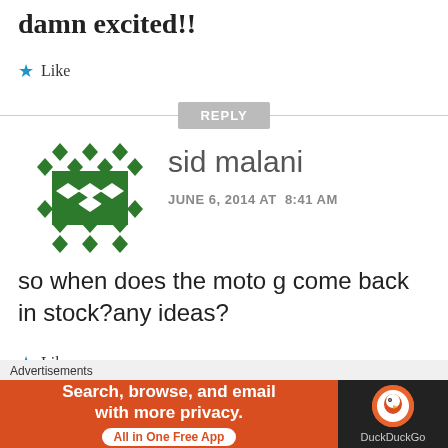damn excited!!
Like
REPLY
[Figure (illustration): Green geometric avatar for user sid malani]
sid malani
JUNE 6, 2014 AT  8:41 AM
so when does the moto g come back in stock?any ideas?
Like
REPLY
Advertisements
[Figure (infographic): DuckDuckGo advertisement banner: Search, browse, and email with more privacy. All in One Free App]